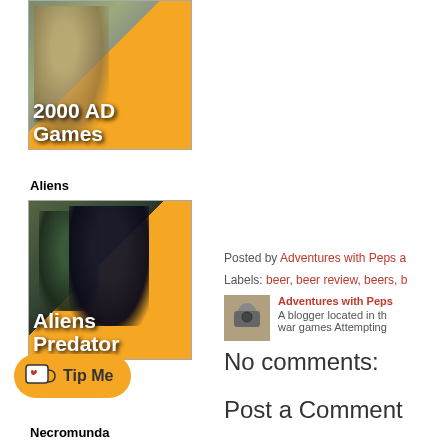[Figure (illustration): 2000 AD Games card with a painted miniature figure in a yellow coat on an orange diagonal background]
Aliens
[Figure (illustration): Aliens Predator card with alien creature miniatures on an orange diagonal background]
[Figure (illustration): Tip Me button with coffee cup icon in orange/yellow rounded pill shape]
Necromunda
Posted by Adventures with Peps a
Labels: beer, beer review, beers, b
[Figure (photo): Author profile photo showing person holding camera]
Adventures with Peps
A blogger located in th
war games Attempting
No comments:
Post a Comment